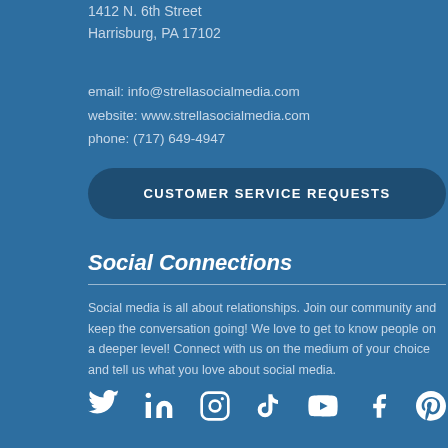1412 N. 6th Street
Harrisburg, PA 17102
email: info@strellasocialmedia.com
website: www.strellasocialmedia.com
phone: (717) 649-4947
CUSTOMER SERVICE REQUESTS
Social Connections
Social media is all about relationships. Join our community and keep the conversation going! We love to get to know people on a deeper level! Connect with us on the medium of your choice and tell us what you love about social media.
[Figure (infographic): Social media icons: Twitter, LinkedIn, Instagram, TikTok, YouTube, Facebook, Pinterest]